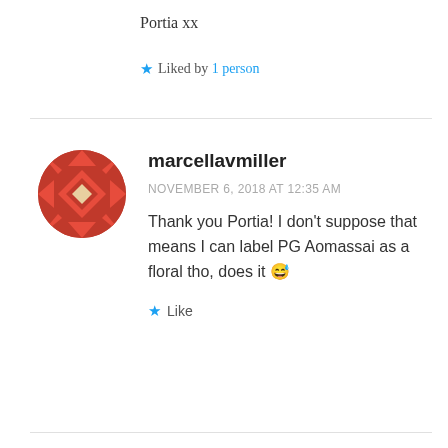Portia xx
★ Liked by 1 person
[Figure (illustration): Circular avatar with red/orange geometric quilt-like pattern]
marcellavmiller
NOVEMBER 6, 2018 AT 12:35 AM
Thank you Portia! I don't suppose that means I can label PG Aomassai as a floral tho, does it 😅
★ Like